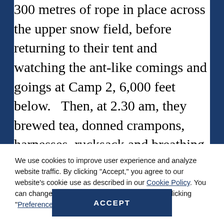300 metres of rope in place across the upper snow field, before returning to their tent and watching the ant-like comings and goings at Camp 2, 6,000 feet below.   Then, at 2.30 am, they brewed tea, donned crampons, harnesses, rucksack and breathing equipment, and emerged into the cold darkness of the mountainside.   The sun was setting once more by the time they reached the Hillary Step, and they took the last few paces side by side.  At the eleventh hour, the film in Scott's camera ran out, and he had to search in his rucksack for a replacement:
We use cookies to improve user experience and analyze website traffic. By clicking "Accept," you agree to our website's cookie use as described in our Cookie Policy. You can change your cookie settings at any time by clicking "Preferences."